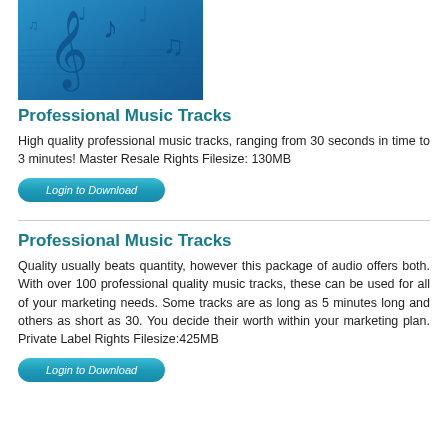[Figure (photo): Blue background image with musical notes and treble clef symbols]
Professional Music Tracks
High quality professional music tracks, ranging from 30 seconds in time to 3 minutes! Master Resale Rights Filesize: 130MB
Login to Download
Professional Music Tracks
Quality usually beats quantity, however this package of audio offers both. With over 100 professional quality music tracks, these can be used for all of your marketing needs. Some tracks are as long as 5 minutes long and others as short as 30. You decide their worth within your marketing plan. Private Label Rights Filesize:425MB
Login to Download